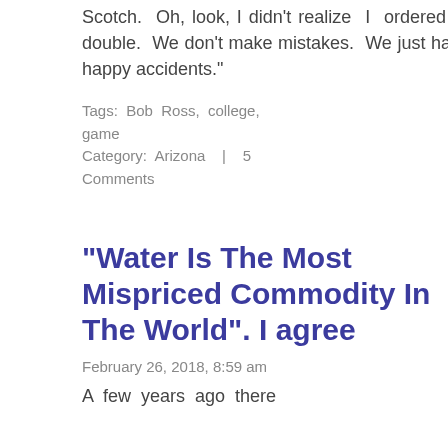Scotch. Oh, look, I didn't realize I ordered a double. We don't make mistakes. We just have happy accidents."
Tags: Bob Ross, college, game
Category: Arizona | 5 Comments
"Water Is The Most Mispriced Commodity In The World". I agree
February 26, 2018, 8:59 am
A few years ago there